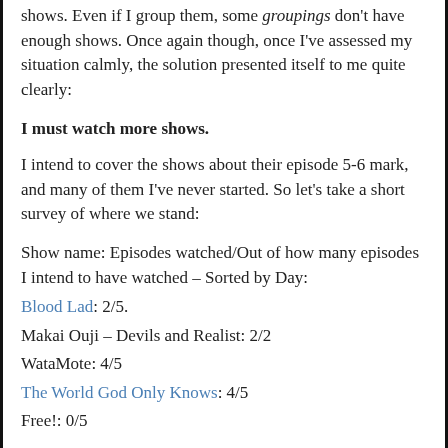shows. Even if I group them, some groupings don't have enough shows. Once again though, once I've assessed my situation calmly, the solution presented itself to me quite clearly:
I must watch more shows.
I intend to cover the shows about their episode 5-6 mark, and many of them I've never started. So let's take a short survey of where we stand:
Show name: Episodes watched/Out of how many episodes I intend to have watched – Sorted by Day:
Blood Lad: 2/5.
Makai Ouji – Devils and Realist: 2/2
WataMote: 4/5
The World God Only Knows: 4/5
Free!: 0/5